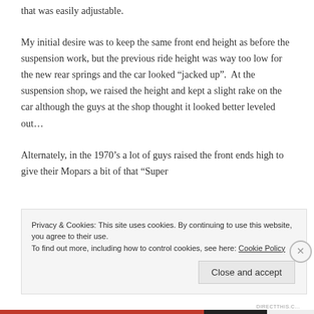that was easily adjustable.
My initial desire was to keep the same front end height as before the suspension work, but the previous ride height was way too low for the new rear springs and the car looked “jacked up”.  At the suspension shop, we raised the height and kept a slight rake on the car although the guys at the shop thought it looked better leveled out…
Alternately, in the 1970’s a lot of guys raised the front ends high to give their Mopars a bit of that “Super
Privacy & Cookies: This site uses cookies. By continuing to use this website, you agree to their use.
To find out more, including how to control cookies, see here: Cookie Policy
Close and accept